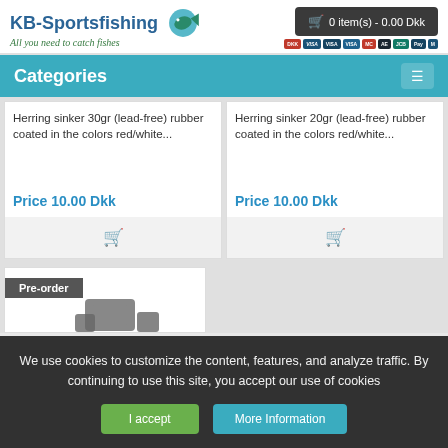KB-Sportsfishing — All you need to catch fishes | 0 item(s) - 0.00 Dkk
Categories
Herring sinker 30gr (lead-free) rubber coated in the colors red/white...
Price 10.00 Dkk
Herring sinker 20gr (lead-free) rubber coated in the colors red/white...
Price 10.00 Dkk
Pre-order
We use cookies to customize the content, features, and analyze traffic. By continuing to use this site, you accept our use of cookies
I accept
More Information